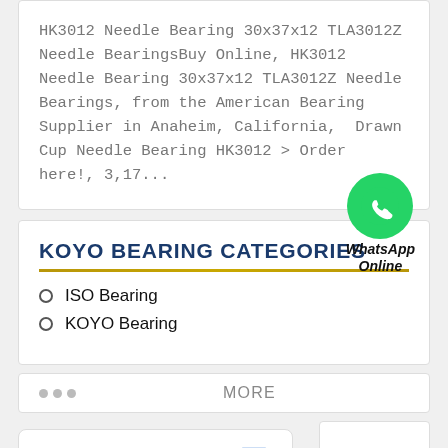HK3012 Needle Bearing 30x37x12 TLA3012Z Needle BearingsBuy Online, HK3012 Needle Bearing 30x37x12 TLA3012Z Needle Bearings, from the American Bearing Supplier in Anaheim, California,  Drawn Cup Needle Bearing HK3012 > Order here!, 3,17...
KOYO BEARING CATEGORIES
[Figure (logo): WhatsApp green circle icon with phone handset, labeled 'WhatsApp Online' in italic text]
ISO Bearing
KOYO Bearing
MORE
Chat now
KOYO